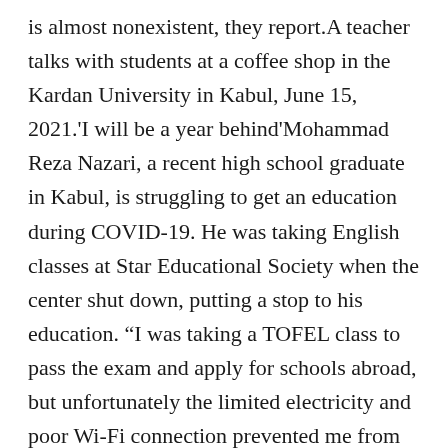is almost nonexistent, they report.A teacher talks with students at a coffee shop in the Kardan University in Kabul, June 15, 2021.'I will be a year behind'Mohammad Reza Nazari, a recent high school graduate in Kabul, is struggling to get an education during COVID-19. He was taking English classes at Star Educational Society when the center shut down, putting a stop to his education. “I was taking a TOFEL class to pass the exam and apply for schools abroad, but unfortunately the limited electricity and poor Wi-Fi connection prevented me from doing online study,” he said, referring to the Test for English as a Foreign Language